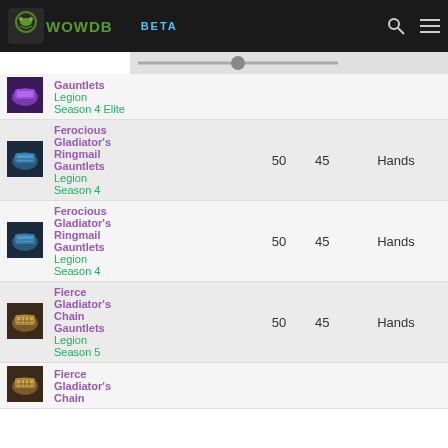WOWDB BETA
| Icon | Name | Col3 | Col4 | Slot |
| --- | --- | --- | --- | --- |
| [icon] | Gauntlets Legion Season 4 Elite |  |  |  |
| [icon] | Ferocious Gladiator's Ringmail Gauntlets Legion Season 4 | 50 | 45 | Hands |
| [icon] | Ferocious Gladiator's Ringmail Gauntlets Legion Season 4 | 50 | 45 | Hands |
| [icon] | Fierce Gladiator's Chain Gauntlets Legion Season 5 | 50 | 45 | Hands |
| [icon] | Fierce Gladiator's Chain |  |  |  |